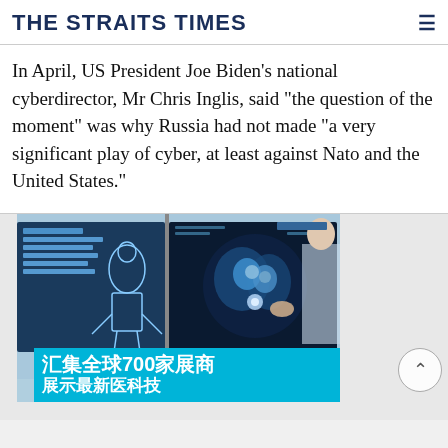THE STRAITS TIMES
In April, US President Joe Biden's national cyberdirector, Mr Chris Inglis, said "the question of the moment" was why Russia had not made "a very significant play of cyber, at least against Nato and the United States."
[Figure (photo): Medical professional viewing CT scan images on dual monitors, with Chinese text overlay reading '汇集全球700家展商' and partial second line of Chinese text. Advertisement image.]